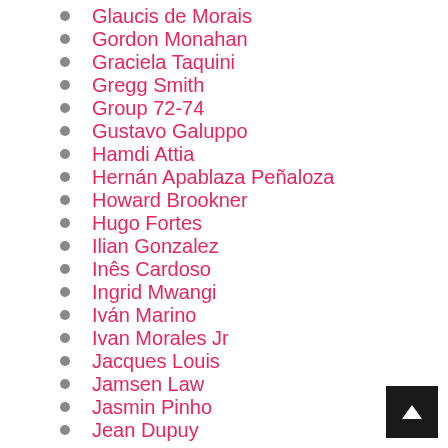Glaucis de Morais
Gordon Monahan
Graciela Taquini
Gregg Smith
Group 72-74
Gustavo Galuppo
Hamdi Attia
Hernán Apablaza Peñaloza
Howard Brookner
Hugo Fortes
Ilian Gonzalez
Inês Cardoso
Ingrid Mwangi
Iván Marino
Ivan Morales Jr
Jacques Louis
Jamsen Law
Jasmin Pinho
Jean Dupuy